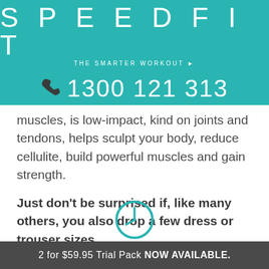[Figure (logo): SPEEDFIT logo with tagline THE SMARTER WORKOUT and phone number 1300 121 313 on teal background]
muscles, is low-impact, kind on joints and tendons, helps sculpt your body, reduce cellulite, build powerful muscles and gain strength.
Just don't be surprised if, like many others, you also drop a few dress or trouser sizes.
[Figure (illustration): Clock/time icon in teal circle outline]
2 for $59.95 Trial Pack NOW AVAILABLE.